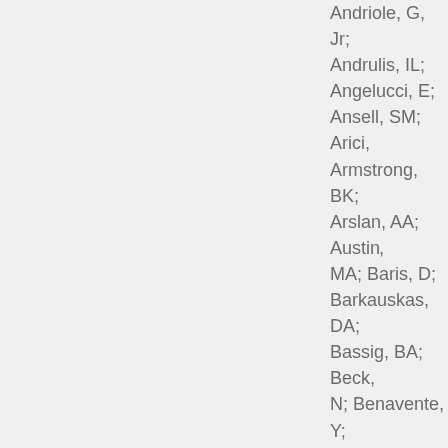Andriole, G, Jr; Andrulis, IL; Angelucci, E; Ansell, SM; Arici, Armstrong, BK; Arslan, AA; Austin, MA; Baris, D; Barkauskas, DA; Bassig, BA; Beck, N; Benavente, Y; Benhamou, S; Berg, C; Van Der Berg, D; Bernste, L; Bertrand, KA; Birmann, BM; Black, A; Boeing, H; Boffetta, P; Boutron-Ruault, MC; Bracci, PM; Brinton, L; Broo